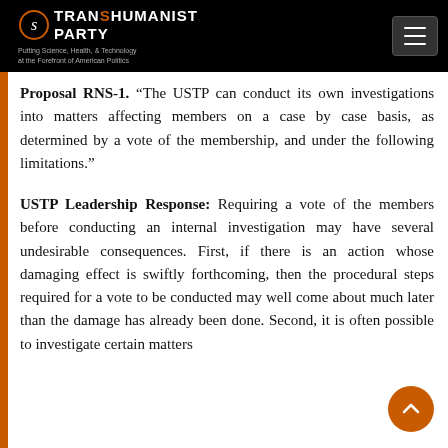TRANSHUMANIST PARTY — Putting Science, Health, & Technology at the Forefront of American Politics
Proposal RNS-1. “The USTP can conduct its own investigations into matters affecting members on a case by case basis, as determined by a vote of the membership, and under the following limitations.”
USTP Leadership Response: Requiring a vote of the members before conducting an internal investigation may have several undesirable consequences. First, if there is an action whose damaging effect is swiftly forthcoming, then the procedural steps required for a vote to be conducted may well come about much later than the damage has already been done. Second, it is often possible to investigate certain matters without the knowledge or the attention of the